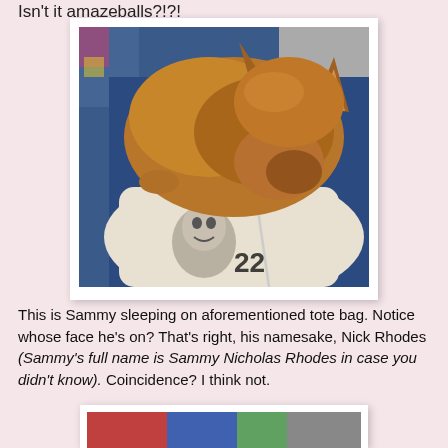Isn't it amazeballs?!?!
[Figure (photo): A brown/golden cat sleeping curled up on top of a white hoodie/zip-up sweatshirt that has a printed face (Nick Rhodes) on it, with the number 22 or similar visible. The cat rests its head on the garment. Background has blue fabric and other items.]
This is Sammy sleeping on aforementioned tote bag. Notice whose face he's on? That's right, his namesake, Nick Rhodes (Sammy's full name is Sammy Nicholas Rhodes in case you didn't know). Coincidence? I think not.
[Figure (photo): Partial view of another photo at the bottom of the page, partially cropped.]